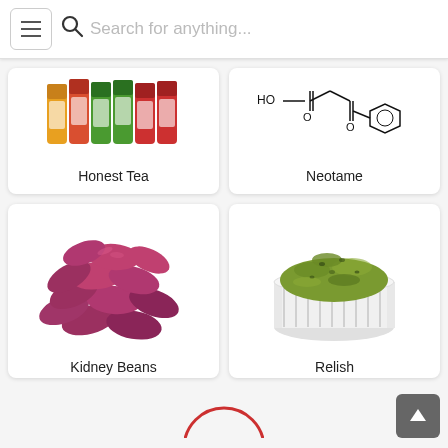Search for anything...
[Figure (photo): Honest Tea bottles (partially visible, top of card cut off)]
Honest Tea
[Figure (illustration): Neotame chemical structure diagram]
Neotame
[Figure (photo): Pile of red kidney beans]
Kidney Beans
[Figure (photo): Bowl of green relish in a white ramekin]
Relish
[Figure (photo): Partial circular red graphic at bottom of page]